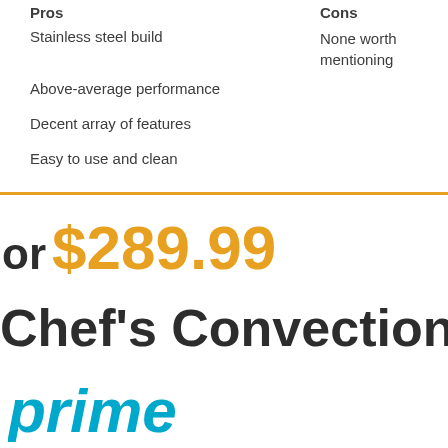Pros
Stainless steel build
Above-average performance
Decent array of features
Easy to use and clean
Cons
None worth mentioning
or $289.99
Chef's Convection
[Figure (logo): Amazon Prime logo showing 'prime' in teal/cyan italic bold text]